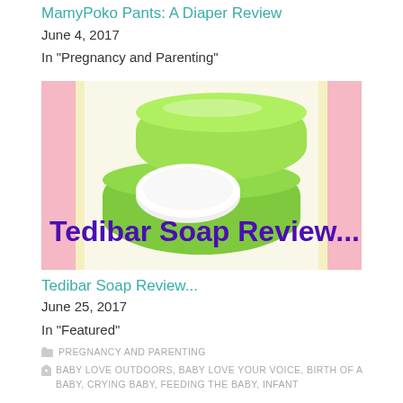MamyPoko Pants: A Diaper Review
June 4, 2017
In "Pregnancy and Parenting"
[Figure (photo): Green soap case with a white bar of soap inside, with text overlay 'Tedibar Soap Review...' in bold purple font, against a pink and yellow patterned background.]
Tedibar Soap Review...
June 25, 2017
In "Featured"
PREGNANCY AND PARENTING
BABY LOVE OUTDOORS, BABY LOVE YOUR VOICE, BIRTH OF A BABY, CRYING BABY, FEEDING THE BABY, INFANT